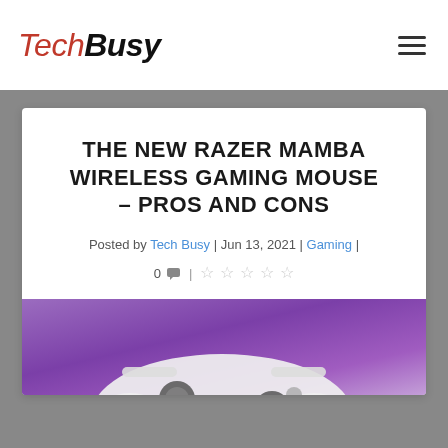TechBusy
THE NEW RAZER MAMBA WIRELESS GAMING MOUSE – PROS AND CONS
Posted by Tech Busy | Jun 13, 2021 | Gaming | 0 💬 | ☆☆☆☆☆
[Figure (photo): Gaming controller on a purple/violet gradient background, partially visible at bottom of card]